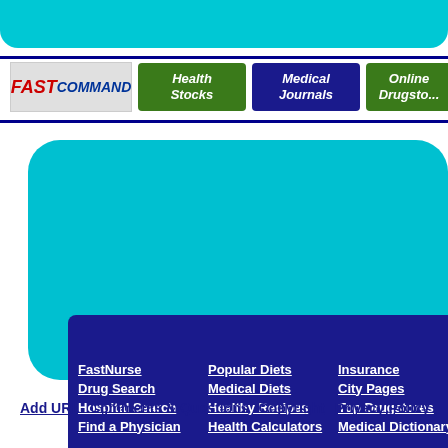[Figure (screenshot): Top cyan rounded bar at top of page]
[Figure (logo): FastCommand logo with red FAST and blue COMMAND text on grey background]
[Figure (screenshot): Health Stocks green navigation button]
[Figure (screenshot): Medical Journals dark blue navigation button]
[Figure (screenshot): Online Drugstore green navigation button (partially cropped)]
[Figure (screenshot): Main cyan rounded rectangle navigation panel containing dark blue inner box with white link text: FastNurse, Drug Search, Hospital Search, Find a Physician, Popular Diets, Medical Diets, Healthy Recipes, Health Calculators, Insurance, City Pages, Top Drugstores, Medical Dictionary]
Add URL   Comments & Questions   Copyright   Privacy Policy
FastNurse
Drug Search
Hospital Search
Find a Physician
Popular Diets
Medical Diets
Healthy Recipes
Health Calculators
Insurance
City Pages
Top Drugstores
Medical Dictionary